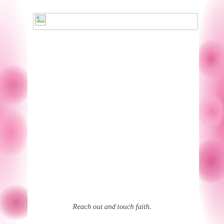[Figure (illustration): Pink blurred flower petals forming a decorative border on the left and right edges of the page, with a white central content area.]
[Figure (other): Broken/missing image placeholder icon in a bordered header box at the top of the white content area.]
Reach out and touch faith.